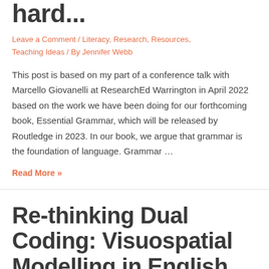hard...
Leave a Comment / Literacy, Research, Resources, Teaching Ideas / By Jennifer Webb
This post is based on my part of a conference talk with Marcello Giovanelli at ResearchEd Warrington in April 2022 based on the work we have been doing for our forthcoming book, Essential Grammar, which will be released by Routledge in 2023. In our book, we argue that grammar is the foundation of language. Grammar …
Read More »
Re-thinking Dual Coding: Visuospatial Modelling in English...